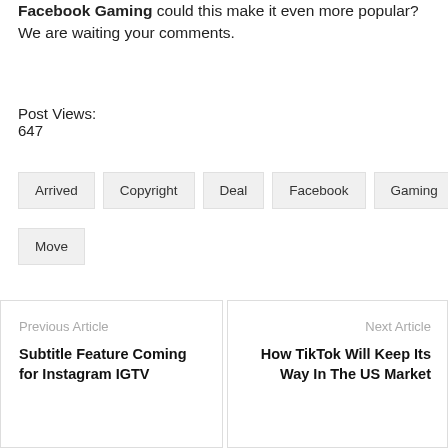Facebook Gaming could this make it even more popular? We are waiting your comments.
Post Views:
647
Arrived
Copyright
Deal
Facebook
Gaming
Move
Previous Article
Subtitle Feature Coming for Instagram IGTV
Next Article
How TikTok Will Keep Its Way In The US Market